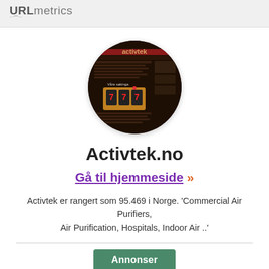URLmetrics
[Figure (screenshot): Circular screenshot of the Activtek website showing a dark-themed page with 'activtek' text at top, content sections, and a slot machine 777 image in the lower portion]
Activtek.no
Gå til hjemmeside >>
Activtek er rangert som 95.469 i Norge. 'Commercial Air Purifiers, Air Purification, Hospitals, Indoor Air ..'
Annonser